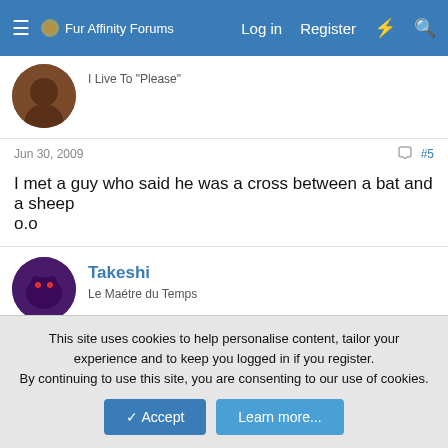Fur Affinity Forums — Log in | Register
I Live To "Please"
Jun 30, 2009   #5
I met a guy who said he was a cross between a bat and a sheep
o.o
Takeshi
Le Maître du Temps
Jun 30, 2009   #6
SexyRedFoxxy said:
This site uses cookies to help personalise content, tailor your experience and to keep you logged in if you register.
By continuing to use this site, you are consenting to our use of cookies.